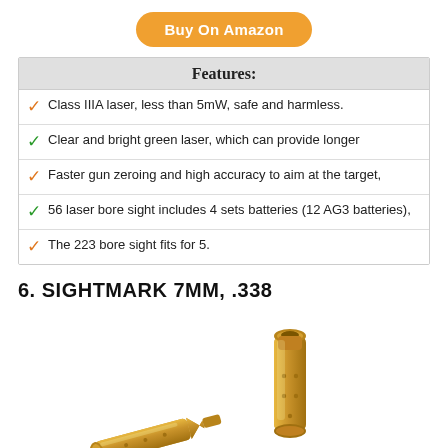[Figure (other): Orange 'Buy On Amazon' button]
| Features: |
| --- |
| ✓ Class IIIA laser, less than 5mW, safe and harmless. |
| ✓ Clear and bright green laser, which can provide longer |
| ✓ Faster gun zeroing and high accuracy to aim at the target, |
| ✓ 56 laser bore sight includes 4 sets batteries (12 AG3 batteries), |
| ✓ The 223 bore sight fits for 5. |
6. SIGHTMARK 7MM, .338
[Figure (photo): Two brass laser bore sight cartridges, one upright and one angled, gold/brass colored]